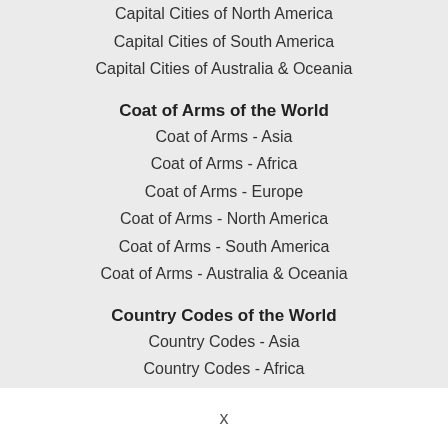Capital Cities of North America
Capital Cities of South America
Capital Cities of Australia & Oceania
Coat of Arms of the World
Coat of Arms - Asia
Coat of Arms - Africa
Coat of Arms - Europe
Coat of Arms - North America
Coat of Arms - South America
Coat of Arms - Australia & Oceania
Country Codes of the World
Country Codes - Asia
Country Codes - Africa
Country Codes - Europe
Country Codes - North America
Country Codes - South America
Country Codes - Australia & Oceania
Languages of the World
Asian Languages